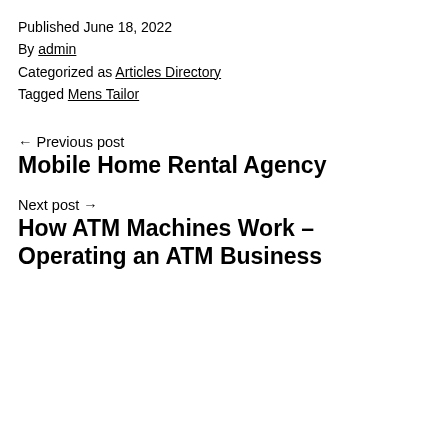Published June 18, 2022
By admin
Categorized as Articles Directory
Tagged Mens Tailor
← Previous post
Mobile Home Rental Agency
Next post →
How ATM Machines Work – Operating an ATM Business